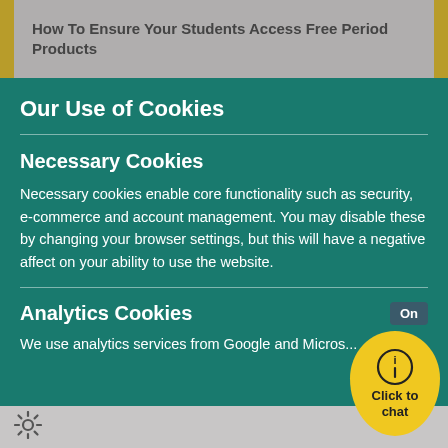How To Ensure Your Students Access Free Period Products
Our Use of Cookies
Necessary Cookies
Necessary cookies enable core functionality such as security, e-commerce and account management. You may disable these by changing your browser settings, but this will have a negative affect on your ability to use the website.
Analytics Cookies
We use analytics services from Google and Micros...
[Figure (illustration): Yellow oval chat button with information icon and 'Click to chat' text]
[Figure (illustration): Gear/settings icon in bottom left corner]